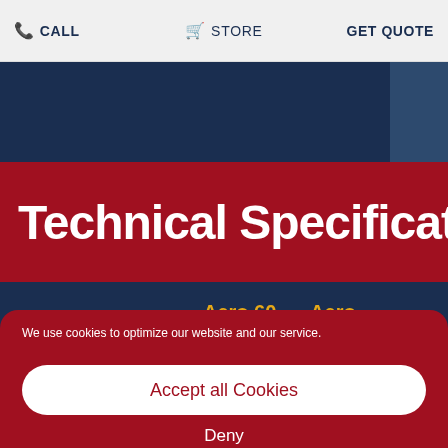CALL   STORE   GET QUOTE
[Figure (illustration): Dark navy blue banner/hero image with diagonal left panel and right panel]
Technical Specifications
|  | Aero 60 | Aero |
| --- | --- | --- |
We use cookies to optimize our website and our service.
Accept all Cookies
Deny
Terms of Use   Privacy Policy